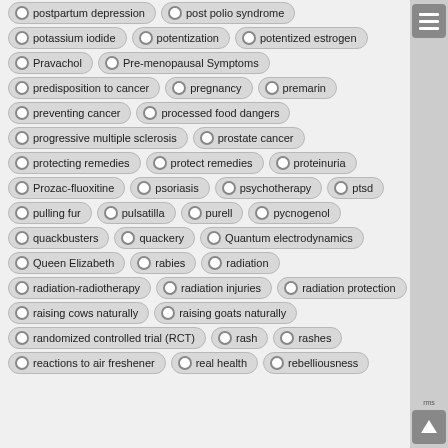postpartum depression
post polio syndrome
potassium iodide
potentization
potentized estrogen
Pravachol
Pre-menopausal Symptoms
predisposition to cancer
pregnancy
premarin
preventing cancer
processed food dangers
progressive multiple sclerosis
prostate cancer
protecting remedies
protect remedies
proteinuria
Prozac-fluoxitine
psoriasis
psychotherapy
ptsd
pulling fur
pulsatilla
purell
pycnogenol
quackbusters
quackery
Quantum electrodynamics
Queen Elizabeth
rabies
radiation
radiation-radiotherapy
radiation injuries
radiation protection
raising cows naturally
raising goats naturally
randomized controlled trial (RCT)
rash
rashes
reactions to air freshener
real health
rebelliousness